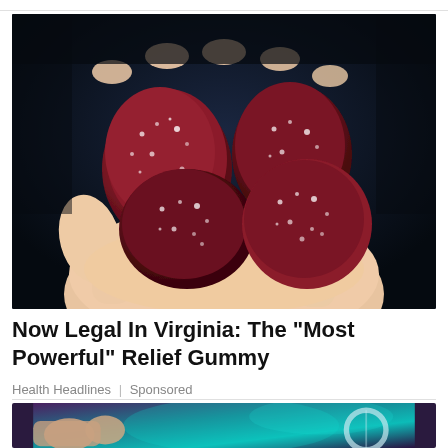[Figure (photo): A close-up photo of a human hand holding several dark red/maroon sugar-coated gummy candies against a dark background.]
Now Legal In Virginia: The "Most Powerful" Relief Gummy
Health Headlines | Sponsored
[Figure (photo): A partial photo showing what appears to be a hand near a glass or lens, with teal/turquoise blurred background.]